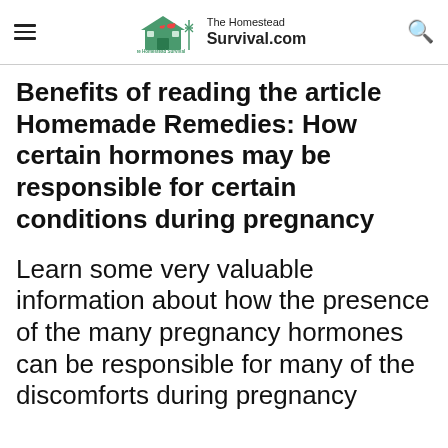The Homestead Survival.com
Benefits of reading the article Homemade Remedies: How certain hormones may be responsible for certain conditions during pregnancy
Learn some very valuable information about how the presence of the many pregnancy hormones can be responsible for many of the discomforts during pregnancy